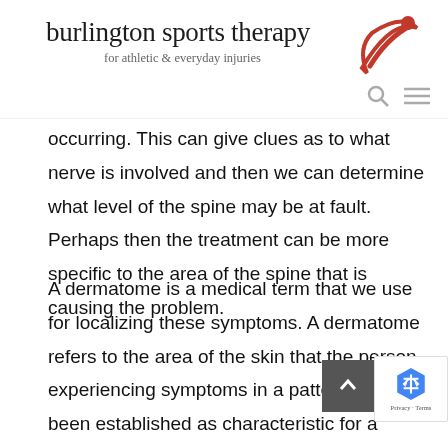burlington sports therapy for athletic & everyday injuries
occurring.  This can give clues as to what nerve is involved and then we can determine what level of the spine may be at fault.  Perhaps then the treatment can be more specific to the area of the spine that is causing the problem.
A dermatome is a medical term that we use for localizing these symptoms.  A dermatome refers to the area of the skin that the person experiencing symptoms in a pattern that has been established as characteristic for a certain